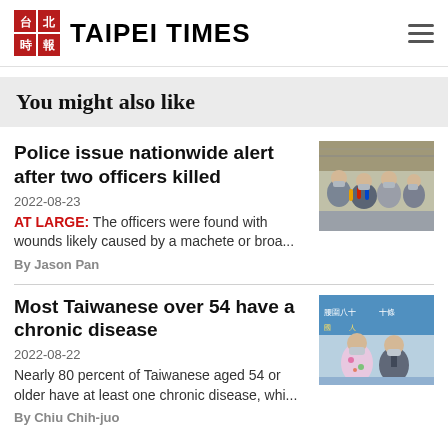TAIPEI TIMES
You might also like
Police issue nationwide alert after two officers killed
2022-08-23
AT LARGE: The officers were found with wounds likely caused by a machete or broa...
By Jason Pan
[Figure (photo): People in masks at a press conference holding microphones]
Most Taiwanese over 54 have a chronic disease
2022-08-22
Nearly 80 percent of Taiwanese aged 54 or older have at least one chronic disease, whi...
By Chiu Chih-juo
[Figure (photo): People wearing masks at a health event with Chinese text banner]